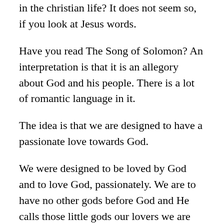in the christian life?  It does not seem so, if you look at Jesus words.
Have you read The Song of Solomon?  An interpretation is that it is an allegory about God and his people.  There is a lot of romantic language in it.
The idea is that we are designed to have a passionate love towards God.
We were designed to be loved by God and to love God, passionately.  We are to have no other gods before God and He calls those little gods our lovers we are committing adultery with.